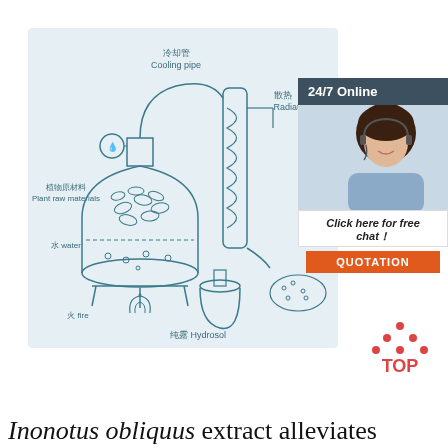[Figure (schematic): Diagram of a steam distillation apparatus with labeled components in Chinese and English: Plant raw materials (植物原材料), water (水 water), fire (火 fire), Cooling pipe (冷却管), Radiator (散热), Hydrosol (纯露 Hydrosol). Shows a flask with plant leaves and water over a flame, connected via tubing through a condenser coil to a collection flask.]
[Figure (photo): Advertisement overlay: Dark gray header reading '24/7 Online', photo of a smiling woman with headset, white box with italic text 'Click here for free chat!', orange button labeled 'QUOTATION'.]
[Figure (illustration): Orange 'TOP' button icon with upward pointing triangle made of dots above the word TOP in orange.]
Inonotus obliquus extract alleviates